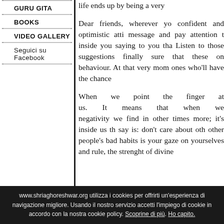GURU GITA
BOOKS
VIDEO GALLERY
Seguici su Facebook
life ends up by being a very...
Dear friends, wherever you confident and optimistic atti message and pay attention t inside you saying to you tha Listen to those suggestions finally sure that these on behaviour. At that very mom ones who’ll have the chance
When we point the finger at us. It means that when we negativity we find in other times more; it’s inside us th say is: don’t care about oth other people’s bad habits is your gaze on yourselves anc rule, the strenght of divine
www.shriaghoreshwar.org utilizza i cookies per offrirti un'esperienza di navigazione migliore. Usando il nostro servizio accetti l'impiego di cookie in accordo con la nostra cookie policy. Scoprine di più. Ho capito.